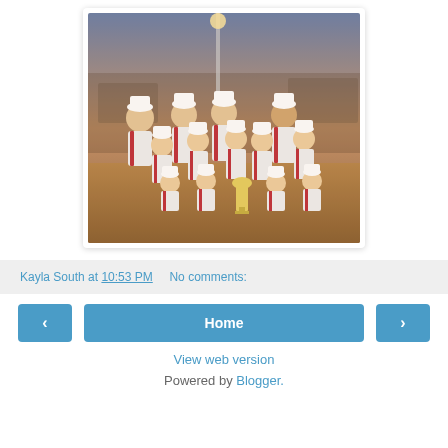[Figure (photo): Youth baseball team photo taken at night on a baseball field. Players wearing white and red uniforms with 'Aces' on them, posed in three rows with coaches. A trophy is visible in the front row.]
Kayla South at 10:53 PM   No comments:
Home
View web version
Powered by Blogger.